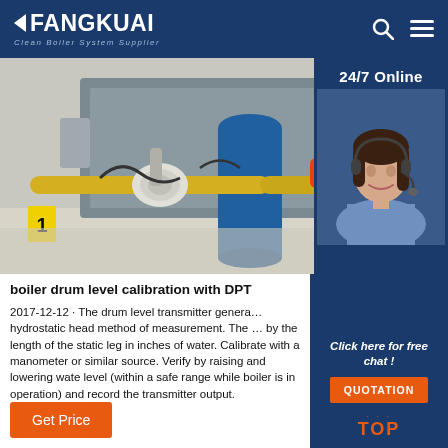FANGKUAI - Clean Boiler System Supplier
[Figure (photo): Industrial boiler system with yellow and blue pipes, machinery components in a facility]
[Figure (photo): Customer service agent woman with headset, 24/7 Online panel on dark blue background]
boiler drum level calibration with DPT
2017-12-12 · The drum level transmitter generally uses the hydrostatic head method of measurement. The … by the length of the static leg in inches of water. Calibrate with a manometer or similar source. Verify by raising and lowering water level (within a safe range while boiler is in operation) and record the transmitter output.
Click here for free chat !
QUOTATION
Get Price